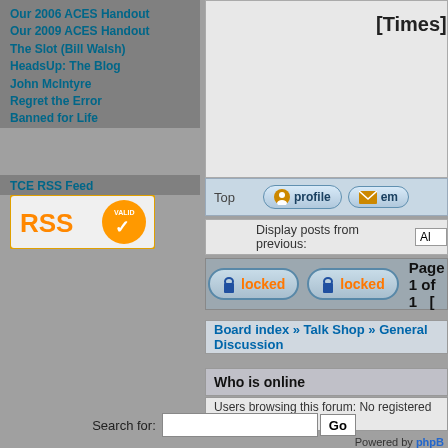Our 2006 ACES Handout
Our 2009 ACES Handout
The Slot (Bill Walsh)
HeadsUp: The Blog
John McIntyre
Regret the Error
Banned for Life
TCE RSS Feed
[Figure (logo): RSS valid orange badge with checkmark]
[Times]
Top
[Figure (screenshot): profile button]
[Figure (screenshot): email button]
Display posts from previous:
locked   locked   Page 1 of 1  [
Board index » Talk Shop » General Discussion
Who is online
Users browsing this forum: No registered users and 6
Search for:
Powered by phpB